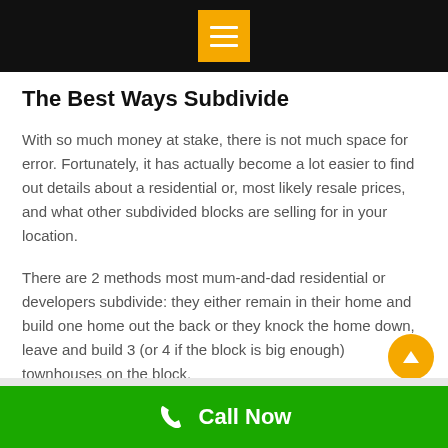The Best Ways Subdivide
With so much money at stake, there is not much space for error. Fortunately, it has actually become a lot easier to find out details about a residential or, most likely resale prices, and what other subdivided blocks are selling for in your location.
There are 2 methods most mum-and-dad residential or developers subdivide: they either remain in their home and build one home out the back or they knock the home down, leave and build 3 (or 4 if the block is big enough) townhouses on the block.
Call Now